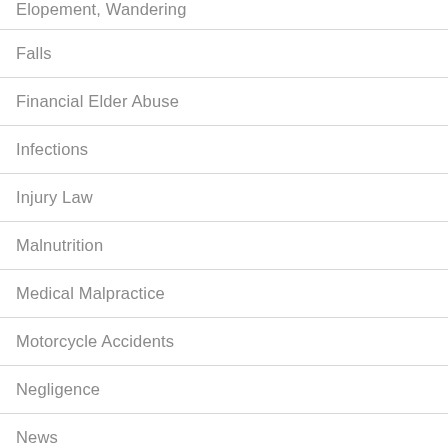Elopement, Wandering
Falls
Financial Elder Abuse
Infections
Injury Law
Malnutrition
Medical Malpractice
Motorcycle Accidents
Negligence
News
Nursing Home
Nursing Home Abuse Guides